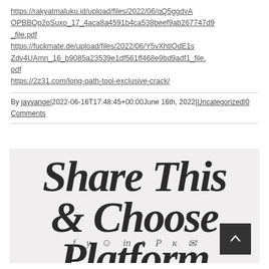https://rakyatmaluku.id/upload/files/2022/06/qQ5ggdvAOPBBQp2oSuxo_17_4aca8a4591b4ca538beef9ab267747d9_file.pdf
https://fuckmate.de/upload/files/2022/06/Y5vXhtlOdE1sZdv4UAmn_16_b9085a23539e1df561ff468e9bd9adf1_file.pdf
https://2z31.com/long-path-tool-exclusive-crack/
By jayvange|2022-06-16T17:48:45+00:00June 16th, 2022|Uncategorized|0 Comments
[Figure (illustration): A decorative 'Share This & Choose Platform' graphic with large bold italic serif text overlaid, showing social media icons (f, t, circle, in, t, P, k, envelope) at the bottom, and a back-to-top button in the bottom right corner.]